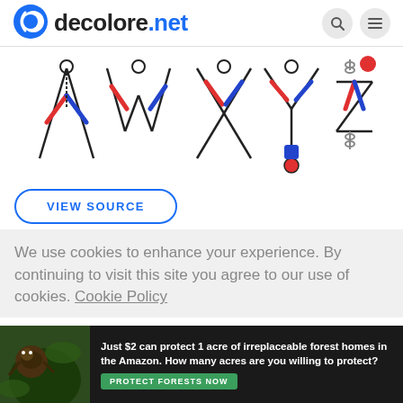decolore.net
[Figure (illustration): Illustrated alphabet letters V, W, X, Y, Z formed by acrobatic human figures in blue and red, sketched in outline style on white background.]
VIEW SOURCE
We use cookies to enhance your experience. By continuing to visit this site you agree to our use of cookies. Cookie Policy
[Figure (photo): Advertisement banner: dark forest background with animal. Text: Just $2 can protect 1 acre of irreplaceable forest homes in the Amazon. How many acres are you willing to protect? Green button: PROTECT FORESTS NOW]